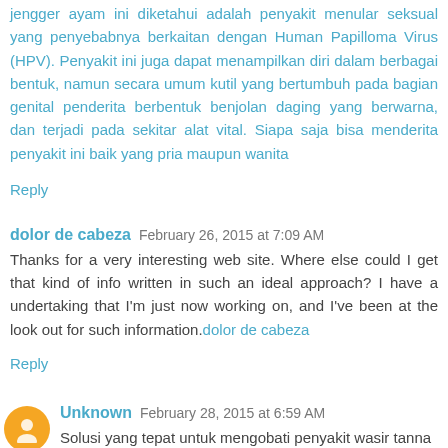jengger ayam ini diketahui adalah penyakit menular seksual yang penyebabnya berkaitan dengan Human Papilloma Virus (HPV). Penyakit ini juga dapat menampilkan diri dalam berbagai bentuk, namun secara umum kutil yang bertumbuh pada bagian genital penderita berbentuk benjolan daging yang berwarna, dan terjadi pada sekitar alat vital. Siapa saja bisa menderita penyakit ini baik yang pria maupun wanita
Reply
dolor de cabeza  February 26, 2015 at 7:09 AM
Thanks for a very interesting web site. Where else could I get that kind of info written in such an ideal approach? I have a undertaking that I'm just now working on, and I've been at the look out for such information.dolor de cabeza
Reply
Unknown  February 28, 2015 at 6:59 AM
Solusi yang tepat untuk mengobati penyakit wasir tanna...